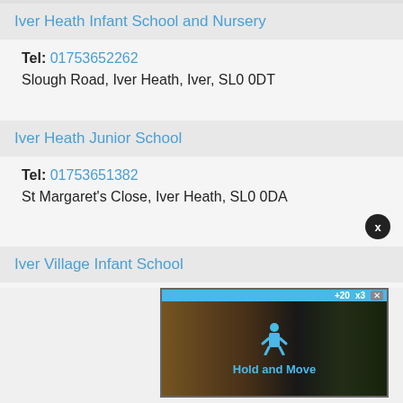Iver Heath Infant School and Nursery
Tel: 01753652262
Slough Road, Iver Heath, Iver, SL0 0DT
Iver Heath Junior School
Tel: 01753651382
St Margaret's Close, Iver Heath, SL0 0DA
Iver Village Infant School
[Figure (screenshot): Advertisement banner showing 'Hold and Move' app/game with dark background and winter tree scene]